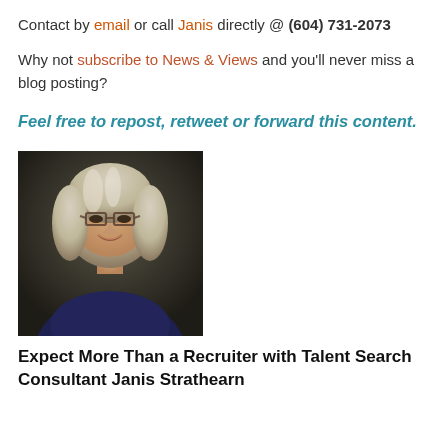Contact by email or call Janis directly @ (604) 731-2073
Why not subscribe to News & Views and you'll never miss a blog posting?
Feel free to repost, retweet or forward this content.
[Figure (photo): Professional headshot of a woman with grey-blonde hair and glasses, wearing a dark navy top, smiling, with a dark blurred background.]
Expect More Than a Recruiter with Talent Search Consultant Janis Strathearn